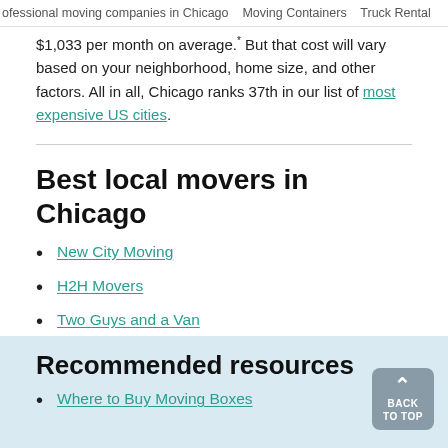ofessional moving companies in Chicago   Moving Containers   Truck Rental
$1,033 per month on average. But that cost will vary based on your neighborhood, home size, and other factors. All in all, Chicago ranks 37th in our list of most expensive US cities.
Best local movers in Chicago
New City Moving
H2H Movers
Two Guys and a Van
Recommended resources
Where to Buy Moving Boxes